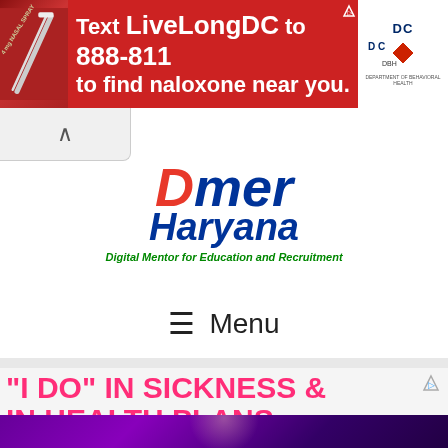[Figure (infographic): Red advertisement banner: 'Text LiveLongDC to 888-811 to find naloxone near you.' with DC government DBH logos on right and syringe image on left.]
[Figure (logo): DMER Haryana logo - Digital Mentor for Education and Recruitment]
Menu
[Figure (infographic): Advertisement: '"I DO" IN SICKNESS & IN HEALTH PLANS.' in bright pink bold text on light background]
[Figure (photo): Photo of a person with purple background, partially visible at bottom of page]